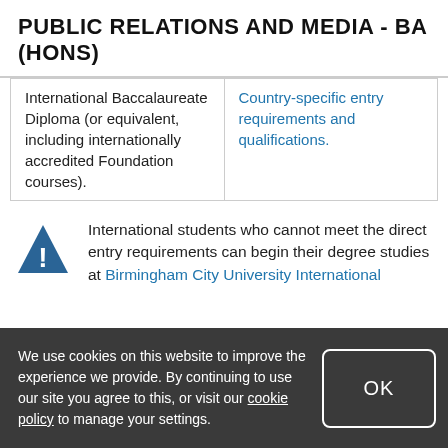PUBLIC RELATIONS AND MEDIA - BA (HONS)
| International Baccalaureate Diploma (or equivalent, including internationally accredited Foundation courses). | Country-specific entry requirements and qualifications. |
International students who cannot meet the direct entry requirements can begin their degree studies at Birmingham City University International
We use cookies on this website to improve the experience we provide. By continuing to use our site you agree to this, or visit our cookie policy to manage your settings.